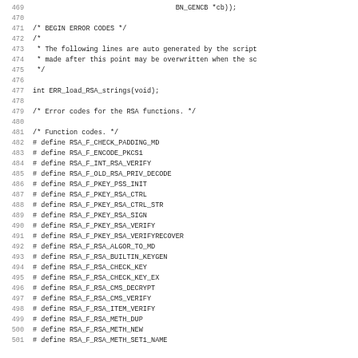[Figure (screenshot): Source code listing showing C header file content with line numbers 469-501, including error code definitions for RSA functions in OpenSSL. Lines include BEGIN ERROR CODES comment, ERR_load_RSA_strings declaration, and multiple #define statements for RSA function codes.]